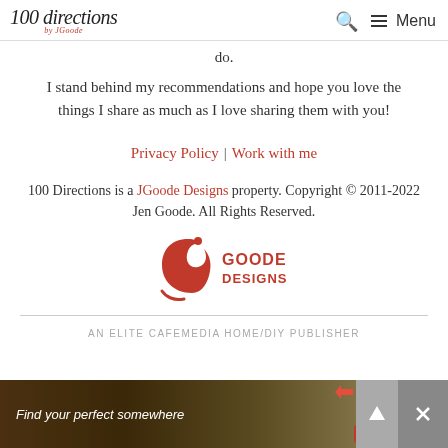100 Directions by JGoode | Search | Menu
do.
I stand behind my recommendations and hope you love the things I share as much as I love sharing them with you!
Privacy Policy | Work with me
100 Directions is a JGoode Designs property. Copyright © 2011-2022 Jen Goode. All Rights Reserved.
[Figure (logo): JGoode Designs logo in red with stylized lettering]
AN ELITE CAFEMEDIA HOME/DIY PUBLISHER
[Figure (photo): Advertisement banner: Find your perfect somewhere]